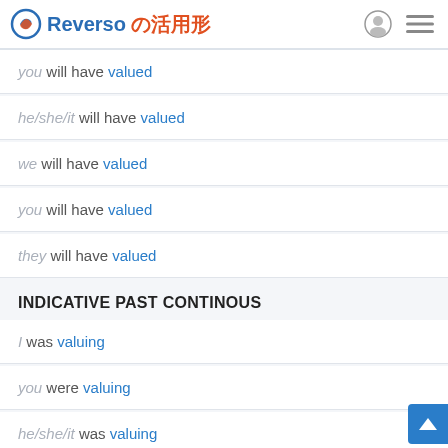Reverso の活用形
you will have valued
he/she/it will have valued
we will have valued
you will have valued
they will have valued
INDICATIVE PAST CONTINOUS
I was valuing
you were valuing
he/she/it was valuing
we were valuing